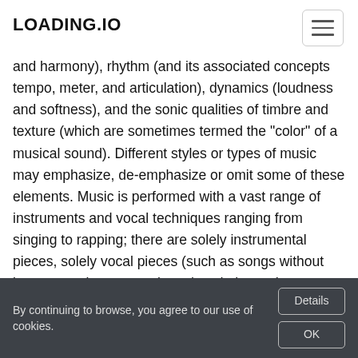LOADING.IO
organized in time. General definitions emphasize common elements such as pitch (which governs melody and harmony), rhythm (and its associated concepts tempo, meter, and articulation), dynamics (loudness and softness), and the sonic qualities of timbre and texture (which are sometimes termed the "color" of a musical sound). Different styles or types of music may emphasize, de-emphasize or omit some of these elements. Music is performed with a vast range of instruments and vocal techniques ranging from singing to rapping; there are solely instrumental pieces, solely vocal pieces (such as songs without instrumental accompaniment) and pieces that combine singing and instruments. The word derives from Greek μουσική (mousike; "art of the Muses").
By continuing to browse, you agree to our use of cookies.